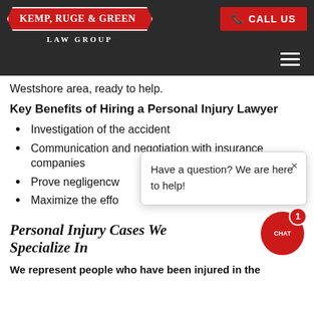KEMP, RUGE & GREEN LAW GROUP | CALL US
Westshore area, ready to help.
Key Benefits of Hiring a Personal Injury Lawyer
Investigation of the accident
Communication and negotiation with insurance companies
Prove negligencw
Maximize the effo
[Figure (screenshot): Chat popup with text: Have a question? We are here to help! and close button]
Personal Injury Cases We Specialize In
We represent people who have been injured in the following types of situations: